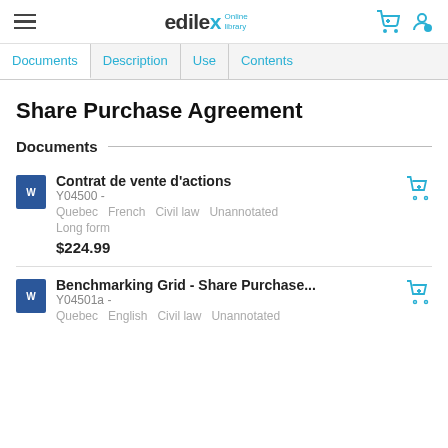edilex Online library — navigation header with hamburger menu, logo, cart and user icons
Documents | Description | Use | Contents
Share Purchase Agreement
Documents
Contrat de vente d'actions
Y04500 -
Quebec   French   Civil law   Unannotated
Long form
$224.99
Benchmarking Grid - Share Purchase...
Y04501a -
Quebec   English   Civil law   Unannotated